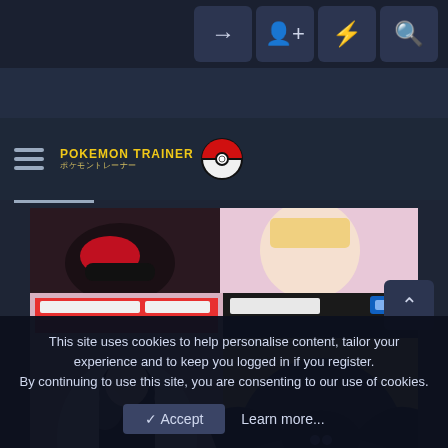Navigation bar with login, register, notifications, and search icons
[Figure (logo): Pokemon Trainer website logo with hamburger menu, colorful text 'POKEMON TRAINER' with Japanese subtitle and a Pokeball graphic]
[Figure (photo): Product photo showing two Pokemon merchandise items in boxes: a Nendoroid figure on the left and a Moncolle Pokemon figure (dark bird-like creature) on the right, with anime character images visible at the top]
This site uses cookies to help personalise content, tailor your experience and to keep you logged in if you register.
By continuing to use this site, you are consenting to our use of cookies.
✓ Accept   Learn more...